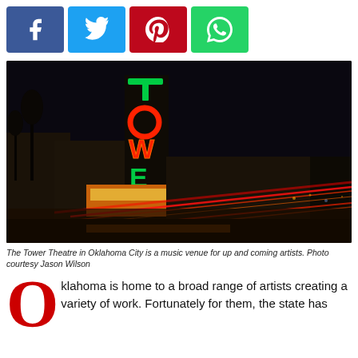[Figure (infographic): Social media share buttons: Facebook (blue), Twitter (light blue), Pinterest (red), WhatsApp (green), each with respective icons]
[Figure (photo): Night photograph of the Tower Theatre in Oklahoma City, showing a tall neon sign spelling TOWER vertically in red and green letters, with long-exposure light trails from passing cars streaking red horizontally across the street in front of the building]
The Tower Theatre in Oklahoma City is a music venue for up and coming artists. Photo courtesy Jason Wilson
Oklahoma is home to a broad range of artists creating a variety of work. Fortunately for them, the state has